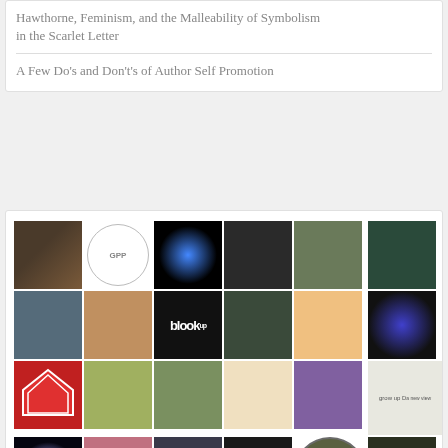Hawthorne, Feminism, and the Malleability of Symbolism in the Scarlet Letter
A Few Do's and Don't's of Author Self Promotion
[Figure (photo): Grid of user avatar profile photos and icons, approximately 6 columns by 6 rows, showing various people, logos, and graphic avatars]